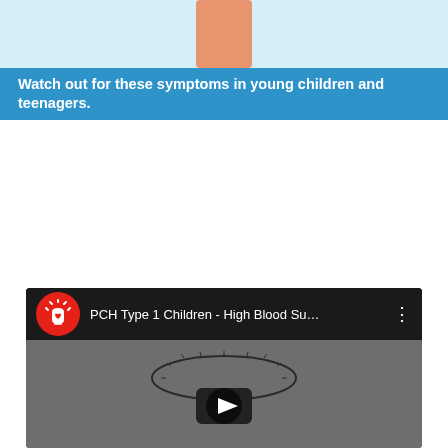[Figure (illustration): Top portion of a medical infographic showing a person figure (skin-tone torso visible at top) on a light blue background]
Watch out for these symptoms in young children and teenagers.
[Figure (screenshot): YouTube video embed: PCH Type 1 Children - High Blood Su... with PCH channel logo (red circle with white hand/heart icon) and video thumbnail showing a blood sugar meter illustration with YouTube play button]